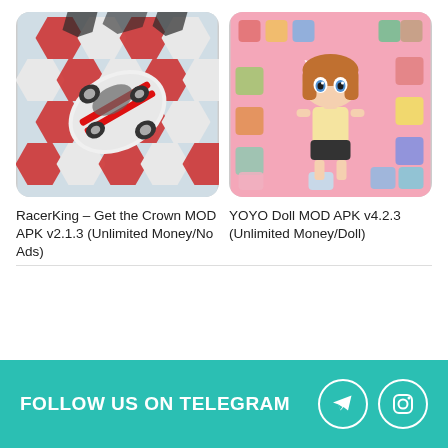[Figure (screenshot): App thumbnail for RacerKing showing a white sports car with red stripes on a hexagonal tile track pattern (red and white hexagons), viewed from above.]
RacerKing – Get the Crown MOD APK v2.1.3 (Unlimited Money/No Ads)
[Figure (screenshot): App thumbnail for YOYO Doll showing a cute anime-style chibi girl with cat ears and orange hair, surrounded by various colorful clothing items on a pink background.]
YOYO Doll MOD APK v4.2.3 (Unlimited Money/Doll)
FOLLOW US ON TELEGRAM